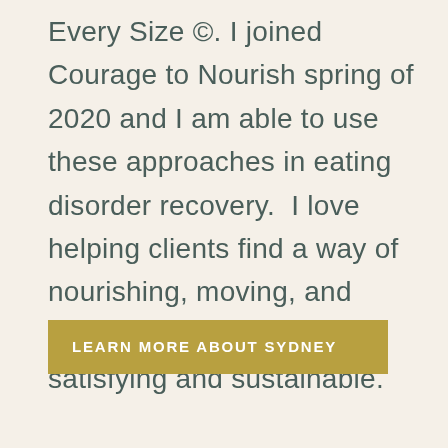Every Size ©. I joined Courage to Nourish spring of 2020 and I am able to use these approaches in eating disorder recovery.  I love helping clients find a way of nourishing, moving, and viewing their body that is satisfying and sustainable.
LEARN MORE ABOUT SYDNEY